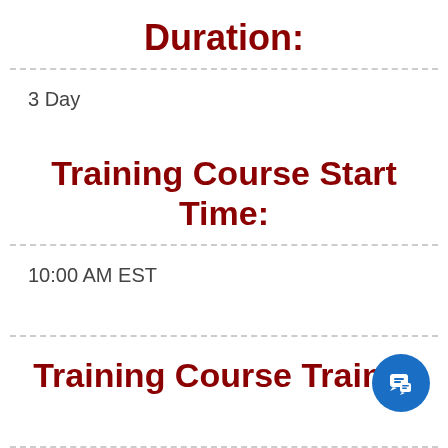Duration:
3 Day
Training Course Start Time:
10:00 AM EST
Training Course Trainer